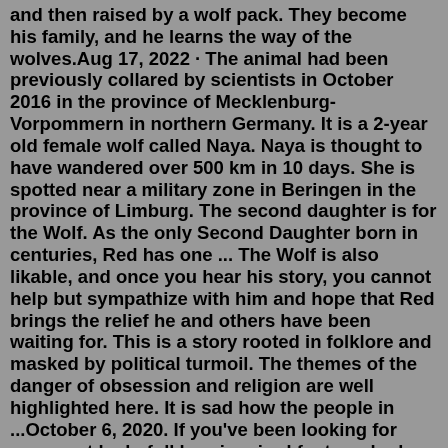and then raised by a wolf pack. They become his family, and he learns the way of the wolves.Aug 17, 2022 · The animal had been previously collared by scientists in October 2016 in the province of Mecklenburg-Vorpommern in northern Germany. It is a 2-year old female wolf called Naya. Naya is thought to have wandered over 500 km in 10 days. She is spotted near a military zone in Beringen in the province of Limburg. The second daughter is for the Wolf. As the only Second Daughter born in centuries, Red has one ... The Wolf is also likable, and once you hear his story, you cannot help but sympathize with him and hope that Red brings the relief he and others have been waiting for. This is a story rooted in folklore and masked by political turmoil. The themes of the danger of obsession and religion are well highlighted here. It is sad how the people in ...October 6, 2020. If you've been looking for your next lush, folklore-inspired fantasy, look no further—debut author Hannah Whitten has arrived with your new favorite read. FOR THE WOLF, Book One of the